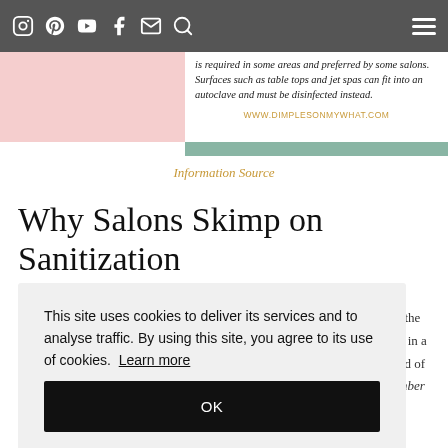Navigation bar with social icons (Instagram, Pinterest, YouTube, Facebook, Email, Search) and hamburger menu
[Figure (photo): Pink/salmon colored image block on the left side]
is required in some areas and preferred by some salons. Surfaces such as table tops and jet spas can fit into an autoclave and must be disinfected instead.
WWW.DIMPLESONMYWHAT.COM
Information Source
Why Salons Skimp on Sanitization
This site uses cookies to deliver its services and to analyse traffic. By using this site, you agree to its use of cookies. Learn more
OK
The salon would also have to have multiples of the